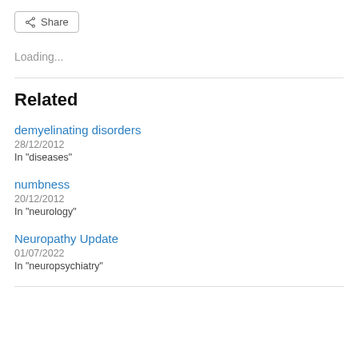Share
Loading...
Related
demyelinating disorders
28/12/2012
In "diseases"
numbness
20/12/2012
In "neurology"
Neuropathy Update
01/07/2022
In "neuropsychiatry"